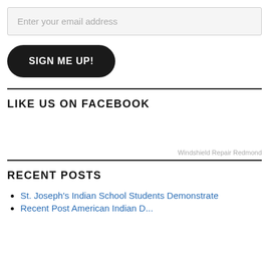Enter your email address
[Figure (other): SIGN ME UP! button — dark rounded-rectangle button with white bold text]
LIKE US ON FACEBOOK
Windshield Repair Redmond
RECENT POSTS
St. Joseph's Indian School Students Demonstrate
Recent Post American Indian D...